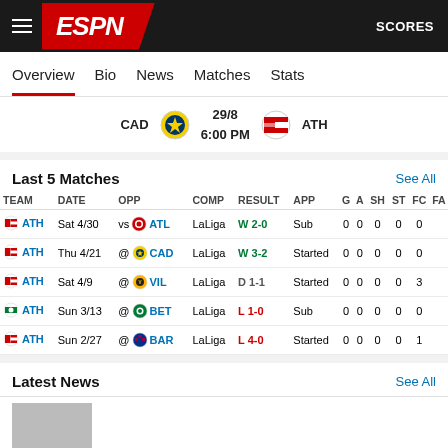ESPN — SCORES
Overview  Bio  News  Matches  Stats
CAD  29/8  6:00 PM  ATH
Last 5 Matches  See All
| TEAM | DATE | OPP | COMP | RESULT | APP | G | A | SH | ST | FC |
| --- | --- | --- | --- | --- | --- | --- | --- | --- | --- | --- |
| ATH | Sat 4/30 | vs ATL | LaLiga | W 2-0 | Sub | 0 | 0 | 0 | 0 | 0 |
| ATH | Thu 4/21 | @ CAD | LaLiga | W 3-2 | Started | 0 | 0 | 0 | 0 | 0 |
| ATH | Sat 4/9 | @ VIL | LaLiga | D 1-1 | Started | 0 | 0 | 0 | 0 | 3 |
| ATH | Sun 3/13 | @ BET | LaLiga | L 1-0 | Sub | 0 | 0 | 0 | 0 | 0 |
| ATH | Sun 2/27 | @ BAR | LaLiga | L 4-0 | Started | 0 | 0 | 0 | 0 | 1 |
Latest News  See All